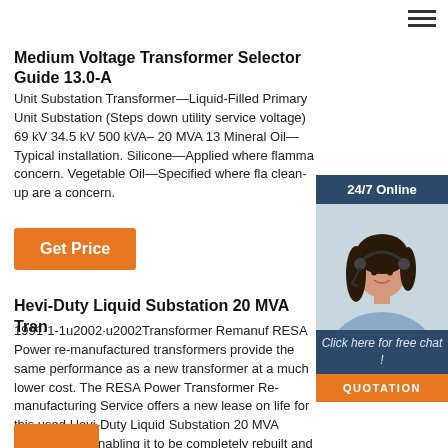Medium Voltage Transformer Selector Guide 13.0-A
Unit Substation Transformer—Liquid-Filled Primary Unit Substation (Steps down utility service voltage) 69 kV 34.5 kV 500 kVA– 20 MVA 13 Mineral Oil—Typical installation. Silicone—Applied where flamma concern. Vegetable Oil—Specified where fla clean-up are a concern.
[Figure (photo): Customer service representative woman with headset, chat widget overlay showing 24/7 Online banner and Click here for free chat with Quotation button]
Hevi-Duty Liquid Substation 20 MVA Tran
1991-1-1u2002·u2002Transformer Remanuf RESA Power re-manufactured transformers provide the same performance as a new transformer at a much lower cost. The RESA Power Transformer Re-manufacturing Service offers a new lease on life for this used Hevi-Duty Liquid Substation 20 MVA Transformer, enabling it to be completely rebuilt and returned to good-as-new condition, or even …